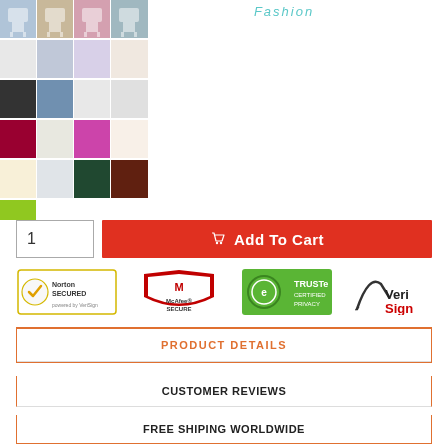Fashion
[Figure (photo): Grid of chair cover product thumbnails showing chairs in various colors including black, grey, blue, pink, red, purple, beige, dark green, brown, and lime green]
1
Add To Cart
[Figure (other): Security trust badges: Norton Secured powered by VeriSign, McAfee Secure, TRUSTe Certified Privacy, VeriSign]
PRODUCT DETAILS
CUSTOMER REVIEWS
FREE SHIPING WORLDWIDE